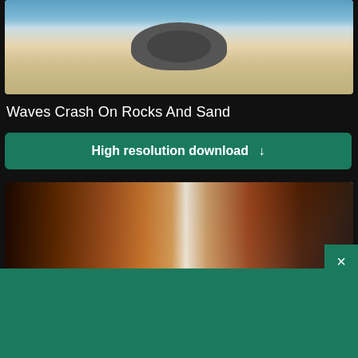[Figure (photo): Beach photo showing waves crashing on rocks and sandy shore with ocean and sky]
Waves Crash On Rocks And Sand
High resolution download ↓
[Figure (photo): Close-up photo of surfboards with warm sunlight and bokeh background]
[Figure (logo): Shopify advertisement banner with logo and Start free trial button]
Need an online store for your business?
Start free trial